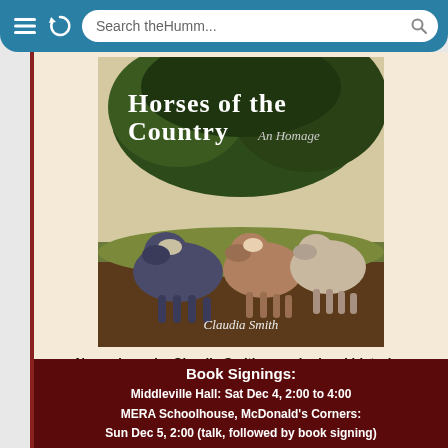[Figure (screenshot): Mobile browser navigation bar with menu icon, refresh icon, and search bar showing 'Search theHumm...']
[Figure (photo): Book cover of 'Horses of the Country: An Homage' by Claudia Smith, showing several horses standing in a countryside setting with trees in background]
New release by Claudia Smith, popular local historian
The hoofbeats of rural history come alive in this comprehensive account of the horses that served farm and village life — a horse-blanket of folklore, feisty horses, parades, fairs and pranks.
With over 200 vintage and colour photographs.
Book Signings:
Middleville Hall: Sat Dec 4, 2:00 to 4:00
MERA Schoolhouse, McDonald's Corners:
Sun Dec 5, 2:00 (talk, followed by book signing)